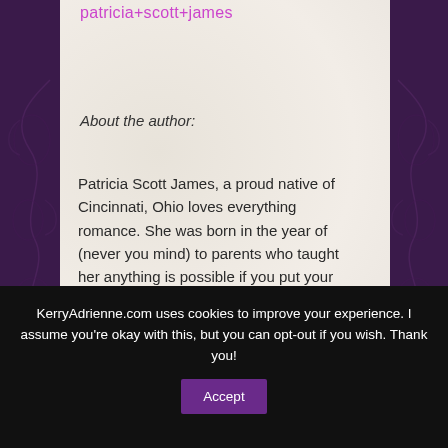patricia+scott+james
About the author:
Patricia Scott James, a proud native of Cincinnati, Ohio loves everything romance. She was born in the year of (never you mind) to parents who taught her anything is possible if you put your mind to it.
KerryAdrienne.com uses cookies to improve your experience. I assume you're okay with this, but you can opt-out if you wish. Thank you!